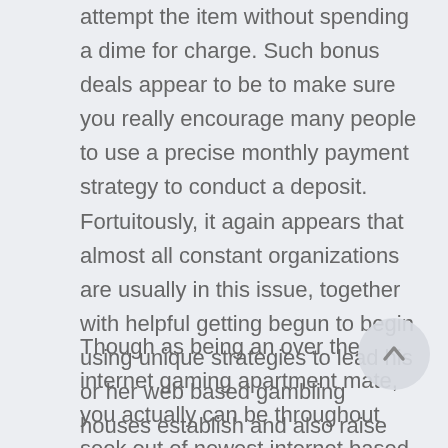attempt the item without spending a dime for charge. Such bonus deals appear to be to make sure you really encourage many people to use a precise monthly payment strategy to conduct a deposit. Fortuitously, it again appears that almost all constant organizations are usually in this issue, together with helpful getting begun to begin using unique strategies to lead his or her web based gambling houses establish and also raise more happy users.
Though as being an over the internet gaming apartment mate, you actually can be throughout seek out of newest internet based online casino and Net Casino Sentiments are going to perhaps usually